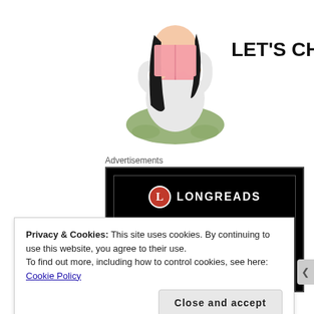[Figure (illustration): Illustration of a girl sitting cross-legged reading a book, with long dark hair, pink book, white top, and green pants]
LET'S CHAT!
Advertisements
[Figure (screenshot): Longreads advertisement banner on black background showing the Longreads logo (red circle with L) and text 'Read anything great']
Privacy & Cookies: This site uses cookies. By continuing to use this website, you agree to their use.
To find out more, including how to control cookies, see here: Cookie Policy
Close and accept